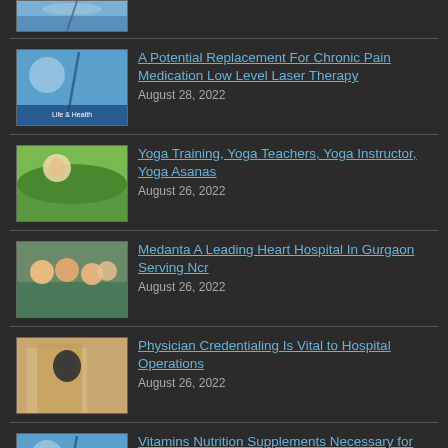[Figure (photo): Partial thumbnail of a sky/nature image at top]
A Potential Replacement For Chronic Pain Medication Low Level Laser Therapy — August 28, 2022
Yoga Training, Yoga Teachers, Yoga Instructor, Yoga Asanas — August 26, 2022
Medanta A Leading Heart Hospital In Gurgaon Serving Ncr — August 26, 2022
Physician Credentialing Is Vital to Hospital Operations — August 26, 2022
Vitamins Nutrition Supplements Necessary for Good Health — August 24, 2022